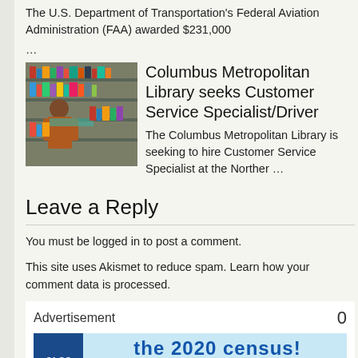The U.S. Department of Transportation's Federal Aviation Administration (FAA) awarded $231,000
…
Columbus Metropolitan Library seeks Customer Service Specialist/Driver
The Columbus Metropolitan Library is seeking to hire Customer Service Specialist at the Norther …
Leave a Reply
You must be logged in to post a comment.
This site uses Akismet to reduce spam. Learn how your comment data is processed.
[Figure (infographic): Advertisement banner with 'Advertisement' label and count '0', featuring a 2020 census ad with CLSS logo on blue background and text 'the 2020 census! We can provide help in your native language!' on light blue background.]